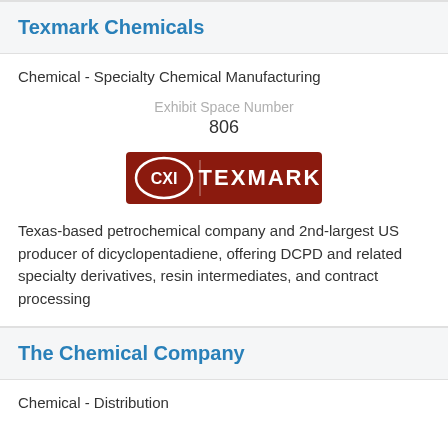Texmark Chemicals
Chemical - Specialty Chemical Manufacturing
Exhibit Space Number
806
[Figure (logo): Texmark Chemicals logo — dark red/maroon rectangle with CXI oval badge on left and TEXMARK text in white on right]
Texas-based petrochemical company and 2nd-largest US producer of dicyclopentadiene, offering DCPD and related specialty derivatives, resin intermediates, and contract processing
The Chemical Company
Chemical - Distribution